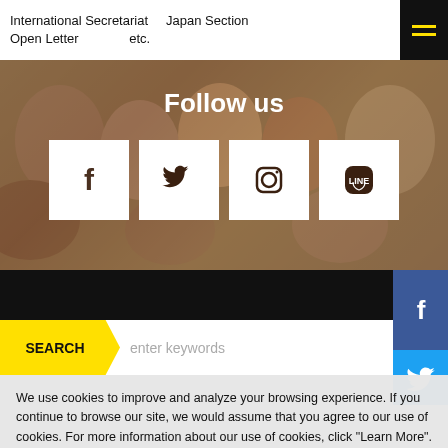International Secretariat   Japan Section
Open Letter   etc.
[Figure (illustration): Hamburger menu icon (three yellow lines on black background)]
Follow us
[Figure (other): Group photo background with social media icon buttons: Facebook (f), Twitter (bird), Instagram (camera), LINE (chat bubble with LINE text)]
SEARCH   enter keywords
We use cookies to improve and analyze your browsing experience. If you continue to browse our site, we would assume that you agree to our use of cookies. For more information about our use of cookies, click "Learn More".
Learn more
I agree >